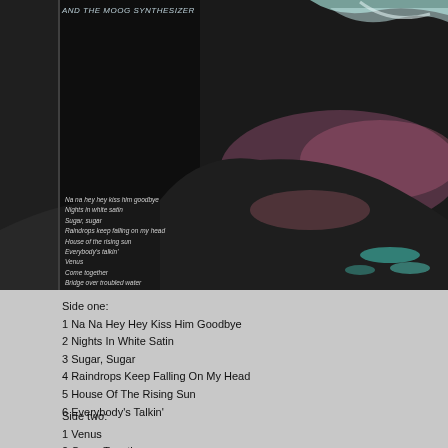[Figure (photo): Album cover showing dark rocky landscape with teal/cyan water reflections and pink/purple sky. Text at top reads 'AND THE MOOG SYNTHESIZER'. Left side has tracklist overlay in small italic white text listing 12 songs.]
Side one:
1 Na Na Hey Hey Kiss Him Goodbye
2 Nights In White Satin
3 Sugar, Sugar
4 Raindrops Keep Falling On My Head
5 House Of The Rising Sun
6 Everybody's Talkin'
Side two:
1 Venus
2 Come Together